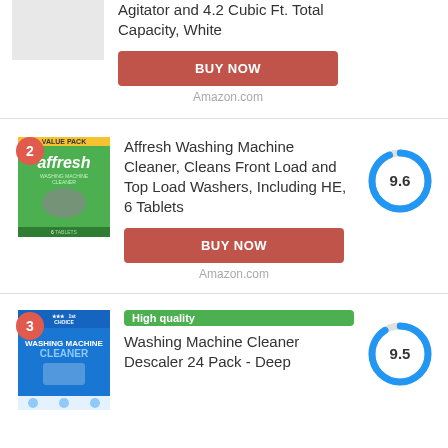Agitator and 4.2 Cubic Ft. Total Capacity, White
BUY NOW
Amazon.com
2
Affresh Washing Machine Cleaner, Cleans Front Load and Top Load Washers, Including HE, 6 Tablets
[Figure (other): Score donut chart showing 9.6]
BUY NOW
Amazon.com
3
High quality
Washing Machine Cleaner Descaler 24 Pack - Deep
[Figure (other): Score donut chart showing 9.5]